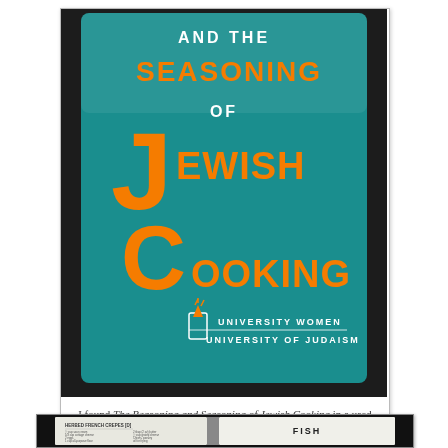[Figure (photo): Photo of a teal/turquoise hardcover book titled 'The Reasoning and Seasoning of Jewish Cooking' with orange lettering, published by University Women, University of Judaism. The book cover has large decorative drop-cap letters J and C.]
I found The Reasoning and Seasoning of Jewish Cooking in a used book shop and couldn't resist buying it. For the title alone, it was worth it.
[Figure (photo): Photo of the open book showing a recipe page for 'Herbed French Crepes [D]' on the left and a chapter divider page reading 'FISH' on the right.]